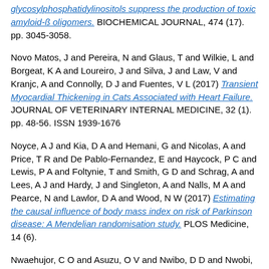glycosylphosphatidylinositols suppress the production of toxic amyloid-ß oligomers. BIOCHEMICAL JOURNAL, 474 (17). pp. 3045-3058.
Novo Matos, J and Pereira, N and Glaus, T and Wilkie, L and Borgeat, K A and Loureiro, J and Silva, J and Law, V and Kranjc, A and Connolly, D J and Fuentes, V L (2017) Transient Myocardial Thickening in Cats Associated with Heart Failure. JOURNAL OF VETERINARY INTERNAL MEDICINE, 32 (1). pp. 48-56. ISSN 1939-1676
Noyce, A J and Kia, D A and Hemani, G and Nicolas, A and Price, T R and De Pablo-Fernandez, E and Haycock, P C and Lewis, P A and Foltynie, T and Smith, G D and Schrag, A and Lees, A J and Hardy, J and Singleton, A and Nalls, M A and Pearce, N and Lawlor, D A and Wood, N W (2017) Estimating the causal influence of body mass index on risk of Parkinson disease: A Mendelian randomisation study. PLOS Medicine, 14 (6).
Nwaehujor, C O and Asuzu, O V and Nwibo, D D and Nwobi, O C and Ezeigbo, I I (2017) Effects of Artesunate on some biochemical parameters in pregnant albino Wistar rats challenged with lethal strain Plasmodium berghei NK65: